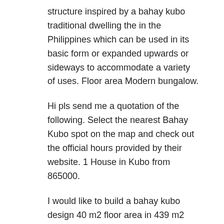structure inspired by a bahay kubo traditional dwelling the in the Philippines which can be used in its basic form or expanded upwards or sideways to accommodate a variety of uses. Floor area Modern bungalow.
Hi pls send me a quotation of the following. Select the nearest Bahay Kubo spot on the map and check out the official hours provided by their website. 1 House in Kubo from 865000.
I would like to build a bahay kubo design 40 m2 floor area in 439 m2 property lot. This 3027sqm residential project inspired. This spacious townhouse unit exudes a cabin-feel and modern exterior.
May 6 2021 at 526 pm. 1732021 Feb 12 2020 Explore Ellen Yenezas board bahay kubo design philippines followed by 148 people on Pinterest. The Modern Bahay Kubo Design.
Samgvup sa Bahay is a concept by three young.